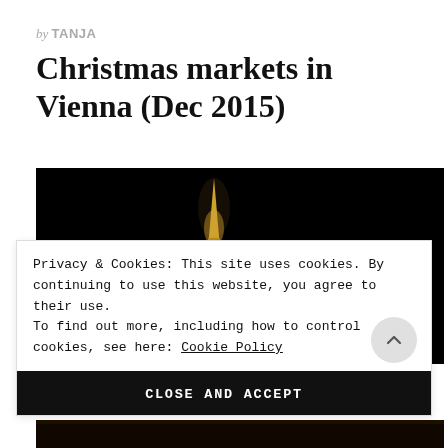by TANJA
Christmas markets in Vienna (Dec 2015)
[Figure (photo): Night photo of a tall illuminated spire/tower against a black sky, appearing to be a Vienna landmark.]
Privacy & Cookies: This site uses cookies. By continuing to use this website, you agree to their use.
To find out more, including how to control cookies, see here: Cookie Policy
CLOSE AND ACCEPT